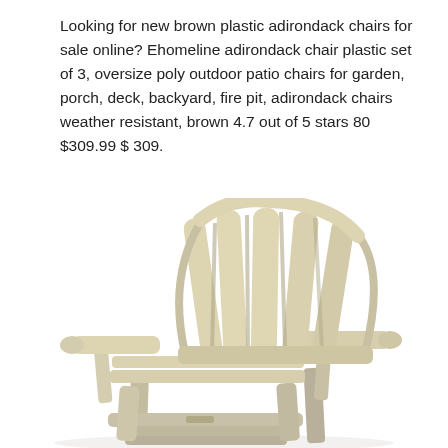Looking for new brown plastic adirondack chairs for sale online? Ehomeline adirondack chair plastic set of 3, oversize poly outdoor patio chairs for garden, porch, deck, backyard, fire pit, adirondack chairs weather resistant, brown 4.7 out of 5 stars 80 $309.99 $ 309.
[Figure (photo): A tan/sandstone colored plastic Adirondack chair shown from a side-front angle, featuring slatted back panels, wide armrests, and a classic Adirondack silhouette. The chair appears to be made of poly resin material in a light brown/beige color.]